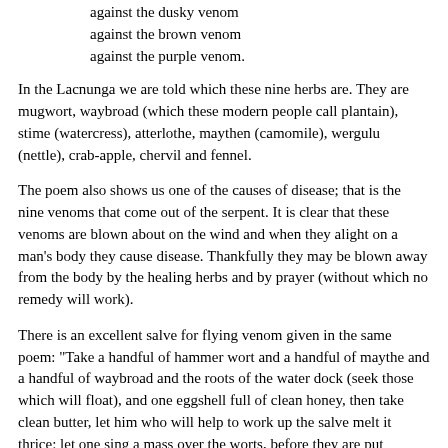against the dusky venom
against the brown venom
against the purple venom.
In the Lacnunga we are told which these nine herbs are. They are mugwort, waybroad (which these modern people call plantain), stime (watercress), atterlothe, maythen (camomile), wergulu (nettle), crab-apple, chervil and fennel.
The poem also shows us one of the causes of disease; that is the nine venoms that come out of the serpent. It is clear that these venoms are blown about on the wind and when they alight on a man's body they cause disease. Thankfully they may be blown away from the body by the healing herbs and by prayer (without which no remedy will work).
There is an excellent salve for flying venom given in the same poem: "Take a handful of hammer wort and a handful of maythe and a handful of waybroad and the roots of the water dock (seek those which will float), and one eggshell full of clean honey, then take clean butter, let him who will help to work up the salve melt it thrice: let one sing a mass over the worts, before they are put together and the salve is wrought up."
In addition to the flying venoms, elves are a great cause of sickness